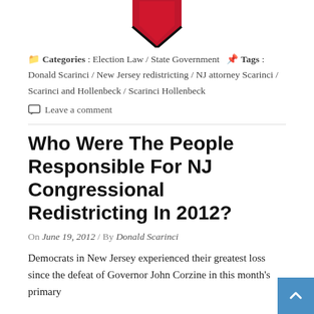[Figure (logo): Red and black chevron/heart logo pointing downward]
Categories : Election Law / State Government  Tags : Donald Scarinci / New Jersey redistricting / NJ attorney Scarinci / Scarinci and Hollenbeck / Scarinci Hollenbeck
Leave a comment
Who Were The People Responsible For NJ Congressional Redistricting In 2012?
On June 19, 2012 / By Donald Scarinci
Democrats in New Jersey experienced their greatest loss since the defeat of Governor John Corzine in this month's primary